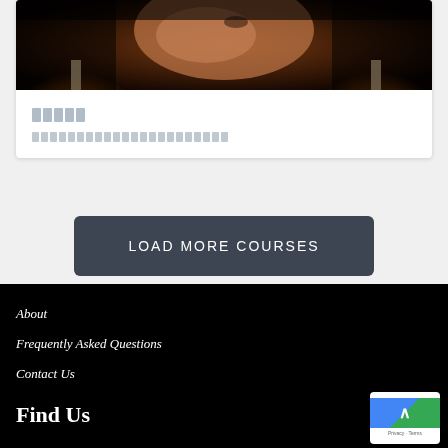[Figure (photo): Close-up photo of a woman's face near candles with hands near her face, spa/wellness theme, dark warm tones]
█████
██████████████████████
LOAD MORE COURSES
About
Frequently Asked Questions
Contact Us
Find Us